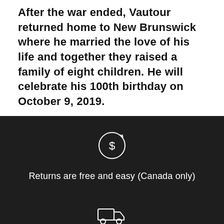After the war ended, Vautour returned home to New Brunswick where he married the love of his life and together they raised a family of eight children. He will celebrate his 100th birthday on October 9, 2019.
[Figure (illustration): Circle with a dollar sign and a small arrow, indicating a returns/refund icon, on a dark background]
Returns are free and easy (Canada only)
[Figure (illustration): Partial view of a delivery/truck icon at the bottom of the dark section]